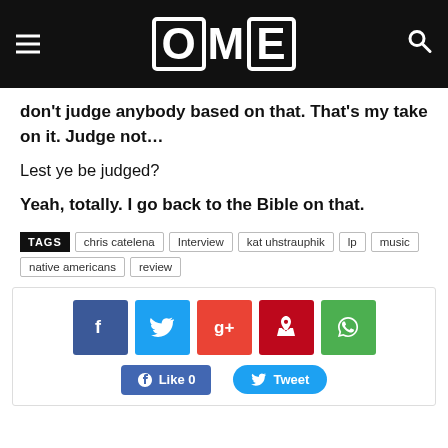OME
don't judge anybody based on that. That's my take on it. Judge not...
Lest ye be judged?
Yeah, totally. I go back to the Bible on that.
TAGS  chris catelena  Interview  kat uhstrauphik  lp  music  native americans  review
[Figure (infographic): Social share buttons: Facebook, Twitter, Google+, Pinterest, WhatsApp icons, and Like 0 / Tweet action buttons]